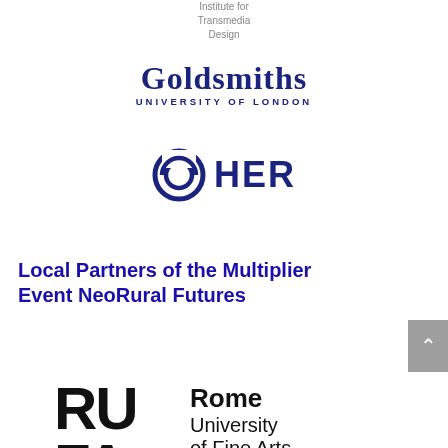Institute for
Transmedia
Design
[Figure (logo): Goldsmiths University of London logo — text-based logo with 'Goldsmiths' in large serif font and 'UNIVERSITY OF LONDON' in small caps below]
[Figure (logo): HER logo — circular icon with stylized open eye/circle shape in dark navy, followed by the letters HER in bold dark navy]
Local Partners of the Multiplier Event NeoRural Futures
[Figure (logo): RUFA Rome University of Fine Arts logo — large bold block letters RU FA on the left, with 'Rome University of Fine Arts' text on the right]